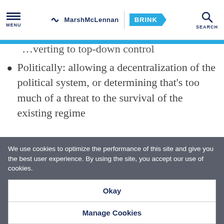MENU | MarshMcLennan BRINK | SEARCH
…verting to top-down control
Politically: allowing a decentralization of the political system, or determining that's too much of a threat to the survival of the existing regime
We use cookies to optimize the performance of this site and give you the best user experience. By using the site, you accept our use of cookies.
Okay
Manage Cookies